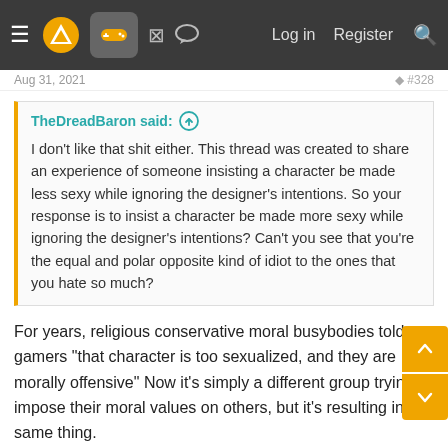Navigation bar with menu, logo, controller icon, grid icon, chat icon, Log in, Register, Search
Aug 31, 2021  #328
TheDreadBaron said: ↑

I don't like that shit either. This thread was created to share an experience of someone insisting a character be made less sexy while ignoring the designer's intentions. So your response is to insist a character be made more sexy while ignoring the designer's intentions? Can't you see that you're the equal and polar opposite kind of idiot to the ones that you hate so much?
For years, religious conservative moral busybodies told gamers "that character is too sexualized, and they are morally offensive" Now it's simply a different group trying to impose their moral values on others, but it's resulting in the same thing.
Now, I will say that I think the height of female sexualization in video games was perhaps a bit much from a "this feels like pandering" perspective. I thought that was especially true during the days of "booth babes." But what's happening now feels like an overcorrection...